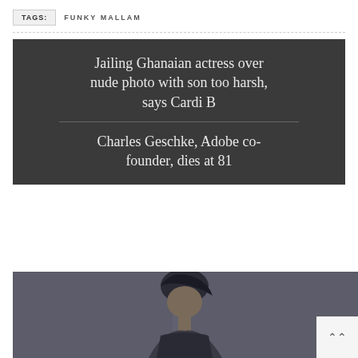TAGS:  FUNKY MALLAM
Jailing Ghanaian actress over nude photo with son too harsh, says Cardi B
Charles Geschke, Adobe co-founder, dies at 81
[Figure (photo): Photo of a person with hair up, against a grey background]